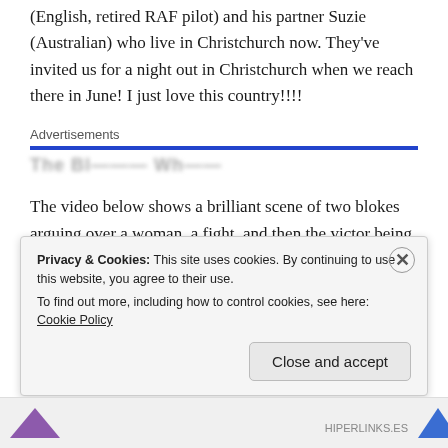(English, retired RAF pilot) and his partner Suzie (Australian) who live in Christchurch now. They've invited us for a night out in Christchurch when we reach there in June! I just love this country!!!!
Advertisements
[Figure (other): Advertisement banner with blue bar and blurred text]
The video below shows a brilliant scene of two blokes arguing over a woman, a fight, and then the victor being shamelessly flirted with by the easily pleased bird
Privacy & Cookies: This site uses cookies. By continuing to use this website, you agree to their use.
To find out more, including how to control cookies, see here: Cookie Policy
Close and accept